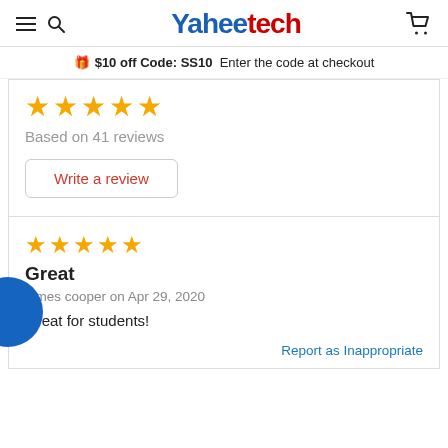Yaheetech
$10 off Code: SS10  Enter the code at checkout
[Figure (other): Five gold stars rating (partially visible, cropped from top)]
Based on 41 reviews
Write a review
[Figure (other): Five gold stars rating for review]
Great
james cooper on Apr 29, 2020
Great for students!
Report as Inappropriate